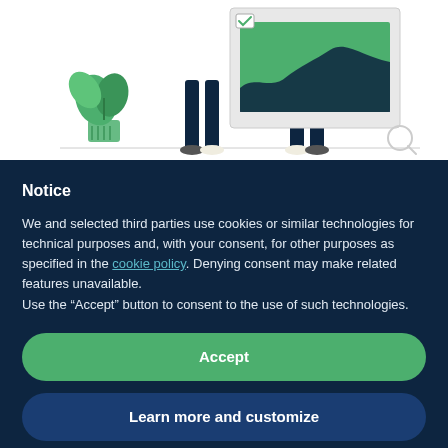[Figure (illustration): Illustration showing two people standing in front of a presentation board with a chart/graph, and a plant on the left side. The figures are wearing dark teal clothing and the chart shows a green area graph.]
Notice
We and selected third parties use cookies or similar technologies for technical purposes and, with your consent, for other purposes as specified in the cookie policy. Denying consent may make related features unavailable.
Use the “Accept” button to consent to the use of such technologies.
Accept
Learn more and customize